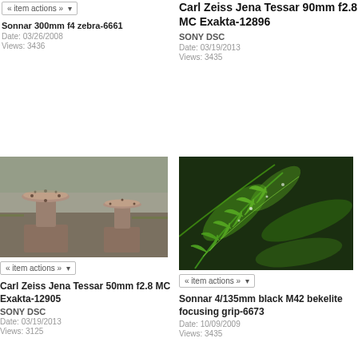« item actions »
Sonnar 300mm f4 zebra-6661
Date: 03/26/2008
Views: 3436
Carl Zeiss Jena Tessar 90mm f2.8 MC Exakta-12896
SONY DSC
Date: 03/19/2013
Views: 3435
[Figure (photo): Industrial metal object with circular flanged tops on cylindrical pedestals, outdoors on concrete/ground surface]
« item actions »
Carl Zeiss Jena Tessar 50mm f2.8 MC Exakta-12905
SONY DSC
Date: 03/19/2013
Views: 3125
[Figure (photo): Close-up photo of bright green fern fronds with water droplets, dark background]
« item actions »
Sonnar 4/135mm black M42 bekelite focusing grip-6673
Date: 10/09/2009
Views: 3435